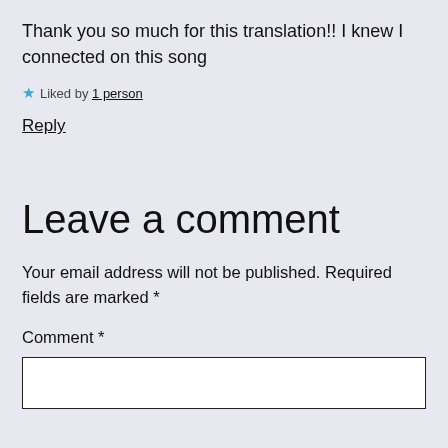Thank you so much for this translation!! I knew I connected on this song
★ Liked by 1 person
Reply
Leave a comment
Your email address will not be published. Required fields are marked *
Comment *